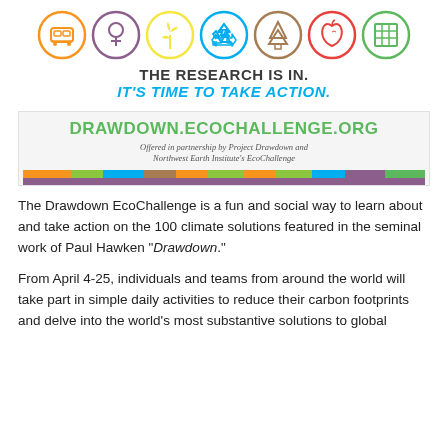[Figure (illustration): Row of seven circular icons representing sustainability categories: transportation (train), gender (female symbol), energy (wind turbine), recycling (recycle arrows), nature (pine tree), food (apple), and buildings (grid/solar panel). Each icon is outlined with a different color circle.]
THE RESEARCH IS IN.
IT'S TIME TO TAKE ACTION.
[Figure (other): Light gray box with DRAWDOWN.ECOCHALLENGE.ORG in large green text, subtitle in italic: 'Offered in partnership by Project Drawdown and Northwest Earth Institute's EcoChallenge', followed by a multicolor bar and a purple bar.]
The Drawdown EcoChallenge is a fun and social way to learn about and take action on the 100 climate solutions featured in the seminal work of Paul Hawken “Drawdown.”
From April 4-25, individuals and teams from around the world will take part in simple daily activities to reduce their carbon footprints and delve into the world’s most substantive solutions to global